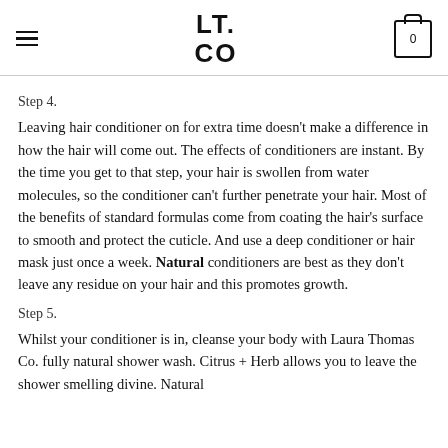LT. CO
Step 4.
Leaving hair conditioner on for extra time doesn't make a difference in how the hair will come out. The effects of conditioners are instant. By the time you get to that step, your hair is swollen from water molecules, so the conditioner can't further penetrate your hair. Most of the benefits of standard formulas come from coating the hair's surface to smooth and protect the cuticle. And use a deep conditioner or hair mask just once a week. Natural conditioners are best as they don't leave any residue on your hair and this promotes growth.
Step 5.
Whilst your conditioner is in, cleanse your body with Laura Thomas Co. fully natural shower wash. Citrus + Herb allows you to leave the shower smelling divine. Natural ingredients mean that like your conditioner, it won't i…